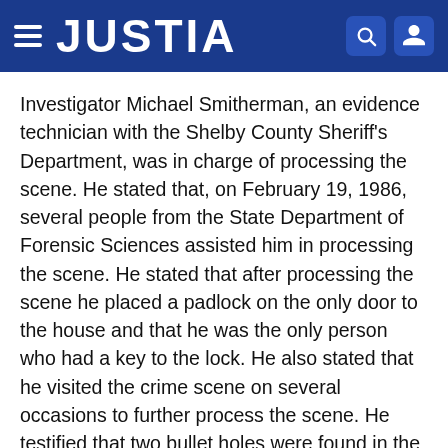JUSTIA
Investigator Michael Smitherman, an evidence technician with the Shelby County Sheriff's Department, was in charge of processing the scene. He stated that, on February 19, 1986, several people from the State Department of Forensic Sciences assisted him in processing the scene. He stated that after processing the scene he placed a padlock on the only door to the house and that he was the only person who had a key to the lock. He also stated that he visited the crime scene on several occasions to further process the scene. He testified that two bullet holes were found in the southwest wall of the house and in the ceiling, respectively.
Sergeant Richard Fox of the Shelby County Sheriff's Department testified that he assisted in processing the scene...